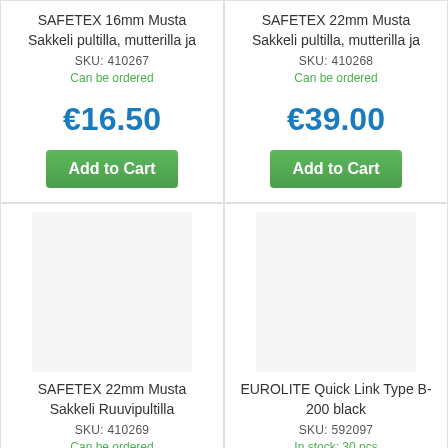SAFETEX 16mm Musta Sakkeli pultilla, mutterilla ja
SKU: 410267
Can be ordered
€16.50
Add to Cart
SAFETEX 22mm Musta Sakkeli pultilla, mutterilla ja
SKU: 410268
Can be ordered
€39.00
Add to Cart
SAFETEX 22mm Musta Sakkeli Ruuvipultilla
SKU: 410269
Can be ordered
EUROLITE Quick Link Type B-200 black
SKU: 592097
In stock: 30 pcs